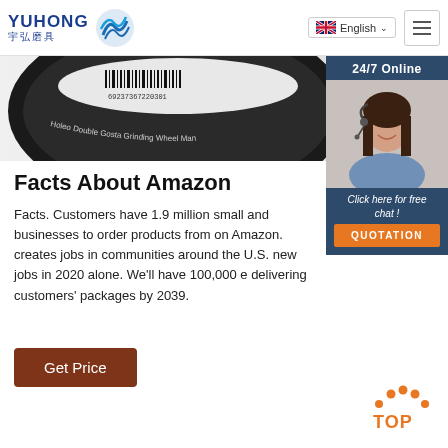YUHONG 宇弘磨具 | English | Menu
[Figure (photo): Partial view of a dark circular grinding wheel with barcode label reading 'Holeo Double Gosta Grinding Whee Ma-']
[Figure (photo): 24/7 Online chat widget showing a female customer service agent wearing a headset, with 'Click here for free chat!' text and an orange QUOTATION button]
Facts About Amazon
Facts. Customers have 1.9 million small and businesses to order products from on Amazon. creates jobs in communities around the U.S. new jobs in 2020 alone. We'll have 100,000 e delivering customers' packages by 2039.
[Figure (other): Brown 'Get Price' button]
[Figure (other): Orange TOP scroll-to-top button with dot arc icon]